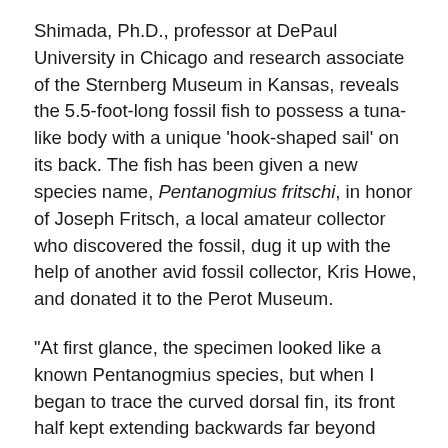Shimada, Ph.D., professor at DePaul University in Chicago and research associate of the Sternberg Museum in Kansas, reveals the 5.5-foot-long fossil fish to possess a tuna-like body with a unique 'hook-shaped sail' on its back. The fish has been given a new species name, Pentanogmius fritschi, in honor of Joseph Fritsch, a local amateur collector who discovered the fossil, dug it up with the help of another avid fossil collector, Kris Howe, and donated it to the Perot Museum.
“At first glance, the specimen looked like a known Pentanogmius species, but when I began to trace the curved dorsal fin, its front half kept extending backwards far beyond where I thought it would end relative to its rear half. That’s when I realized I have something new to science,” said Dr. Shimada.
The fossil fish is a nearly complete skeleton from the Britton